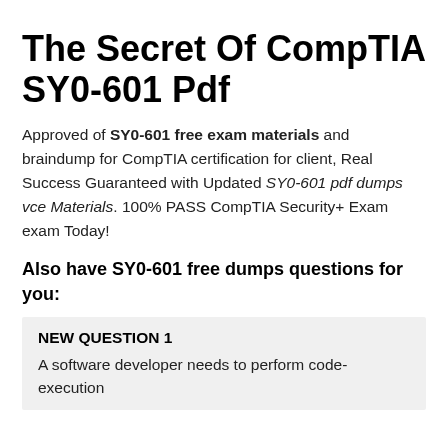The Secret Of CompTIA SY0-601 Pdf
Approved of SY0-601 free exam materials and braindump for CompTIA certification for client, Real Success Guaranteed with Updated SY0-601 pdf dumps vce Materials. 100% PASS CompTIA Security+ Exam exam Today!
Also have SY0-601 free dumps questions for you:
NEW QUESTION 1
A software developer needs to perform code-execution